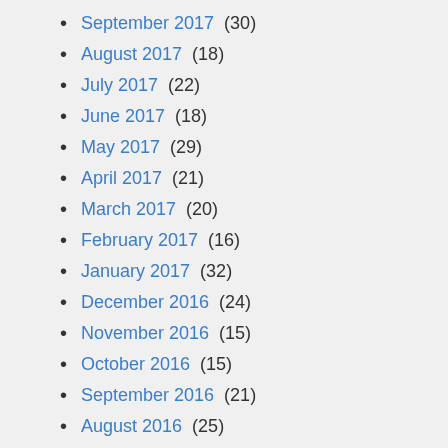September 2017 (30)
August 2017 (18)
July 2017 (22)
June 2017 (18)
May 2017 (29)
April 2017 (21)
March 2017 (20)
February 2017 (16)
January 2017 (32)
December 2016 (24)
November 2016 (15)
October 2016 (15)
September 2016 (21)
August 2016 (25)
July 2016 (15)
June 2016 (13)
May 2016 (37)
April 2016 (45)